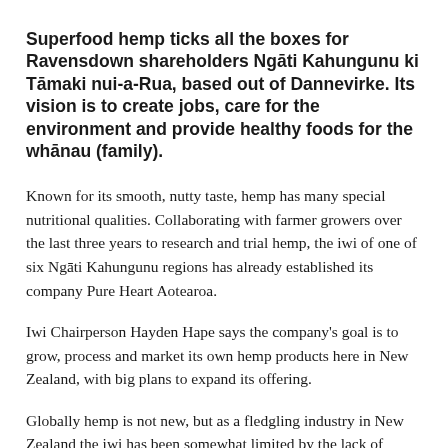Superfood hemp ticks all the boxes for Ravensdown shareholders Ngāti Kahungunu ki Tāmaki nui-a-Rua, based out of Dannevirke. Its vision is to create jobs, care for the environment and provide healthy foods for the whānau (family).
Known for its smooth, nutty taste, hemp has many special nutritional qualities. Collaborating with farmer growers over the last three years to research and trial hemp, the iwi of one of six Ngāti Kahungunu regions has already established its company Pure Heart Aotearoa.
Iwi Chairperson Hayden Hape says the company's goal is to grow, process and market its own hemp products here in New Zealand, with big plans to expand its offering.
Globally hemp is not new, but as a fledgling industry in New Zealand the iwi has been somewhat limited by the lack of